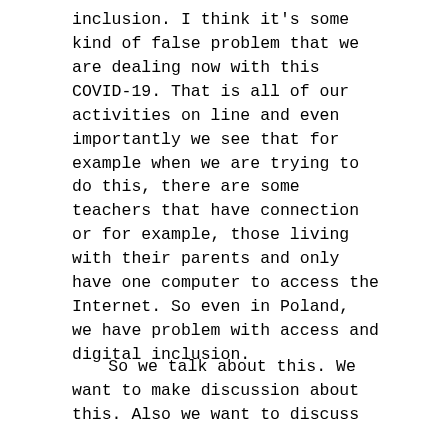inclusion.  I think it's some kind of false problem that we are dealing now with this COVID-19.  That is all of our activities on line and even importantly we see that for example when we are trying to do this, there are some teachers that have connection or for example, those living with their parents and only have one computer to access the Internet.  So even in Poland, we have problem with access and digital inclusion.
So we talk about this.  We want to make discussion about this.  Also we want to discuss